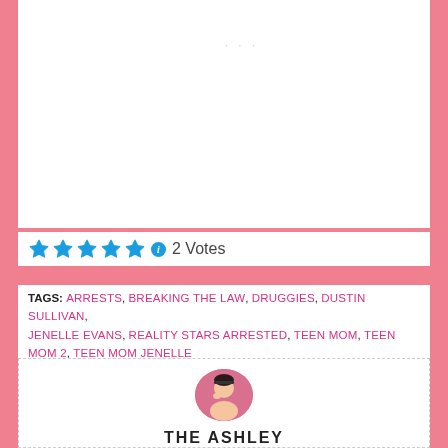[Figure (other): White content area with three small dots at top, representing a loading or slideshow indicator]
★★★★★ ℹ 2 Votes
TAGS: ARRESTS, BREAKING THE LAW, DRUGGIES, DUSTIN SULLIVAN, JENELLE EVANS, REALITY STARS ARRESTED, TEEN MOM, TEEN MOM 2, TEEN MOM JENELLE
[Figure (photo): Circular avatar photo of a woman with dark hair, posed with hand near chin, on a pink background]
THE ASHLEY